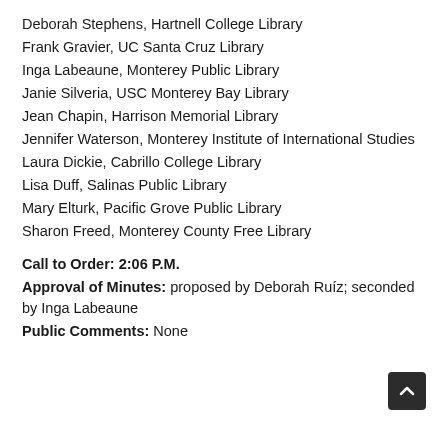Deborah Stephens, Hartnell College Library
Frank Gravier, UC Santa Cruz Library
Inga Labeaune, Monterey Public Library
Janie Silveria, USC Monterey Bay Library
Jean Chapin, Harrison Memorial Library
Jennifer Waterson, Monterey Institute of International Studies
Laura Dickie, Cabrillo College Library
Lisa Duff, Salinas Public Library
Mary Elturk, Pacific Grove Public Library
Sharon Freed, Monterey County Free Library
Call to Order: 2:06 P.M.
Approval of Minutes: proposed by Deborah Ruíz; seconded by Inga Labeaune
Public Comments: None